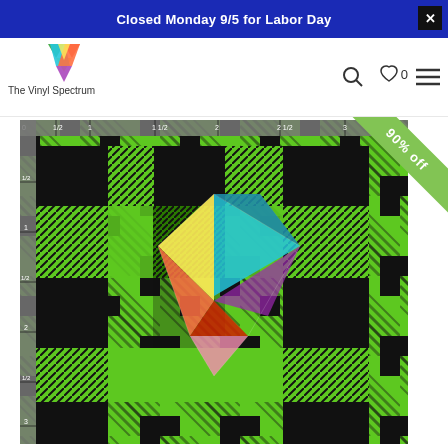Closed Monday 9/5 for Labor Day
[Figure (logo): The Vinyl Spectrum logo with colorful V chevron icon and text]
[Figure (photo): Product photo of green and black buffalo plaid pattern vinyl with a rainbow colorful V logo overlay, shown on a ruler measurement background. A green ribbon reads '90% off' in the top right corner.]